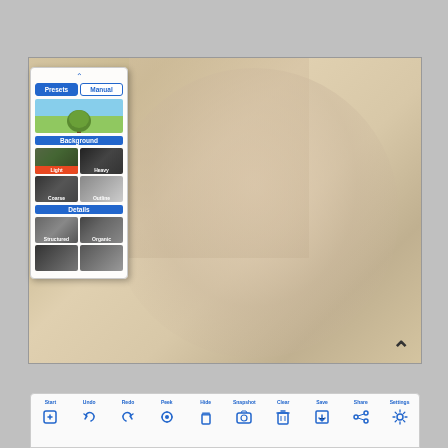[Figure (screenshot): Mobile app screenshot showing a photo editing interface with a girl blowing a dandelion. A panel on the left shows Presets/Manual tabs, background and details brush options in a grid layout. Bottom toolbar shows Start, Undo, Redo, Peek, Hide, Snapshot, Clear, Save, Share, Settings buttons.]